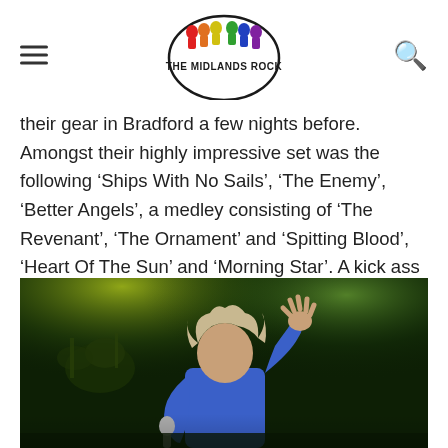The Midlands Rock (logo)
their gear in Bradford a few nights before. Amongst their highly impressive set was the following ‘Ships With No Sails’, ‘The Enemy’, ‘Better Angels’, a medley consisting of ‘The Revenant’, ‘The Ornament’ and ‘Spitting Blood’, ‘Heart Of The Sun’ and ‘Morning Star’. A kick ass show from a band I’m definitely going to have to be seeing live again!
[Figure (photo): Concert photo of a performer with wild hair wearing a blue jacket, holding a microphone and raising one hand with fingers spread, performing on stage with green/yellow stage lighting and drum kit visible in background]